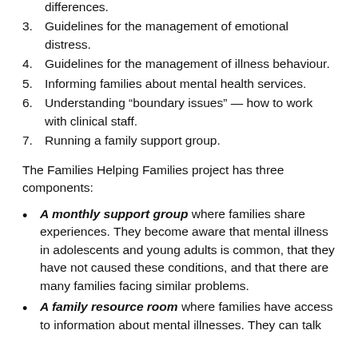differences.
3. Guidelines for the management of emotional distress.
4. Guidelines for the management of illness behaviour.
5. Informing families about mental health services.
6. Understanding “boundary issues” — how to work with clinical staff.
7. Running a family support group.
The Families Helping Families project has three components:
A monthly support group where families share experiences. They become aware that mental illness in adolescents and young adults is common, that they have not caused these conditions, and that there are many families facing similar problems.
A family resource room where families have access to information about mental illnesses. They can talk